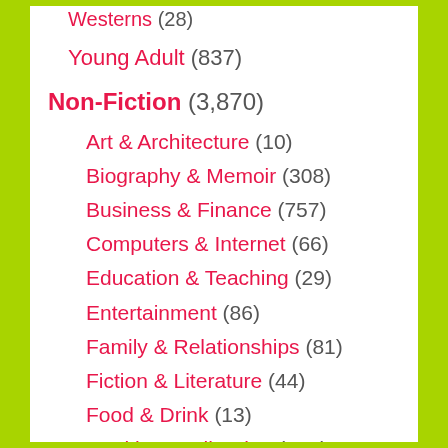Westerns (28)
Young Adult (837)
Non-Fiction (3,870)
Art & Architecture (10)
Biography & Memoir (308)
Business & Finance (757)
Computers & Internet (66)
Education & Teaching (29)
Entertainment (86)
Family & Relationships (81)
Fiction & Literature (44)
Food & Drink (13)
Health & Well Being (617)